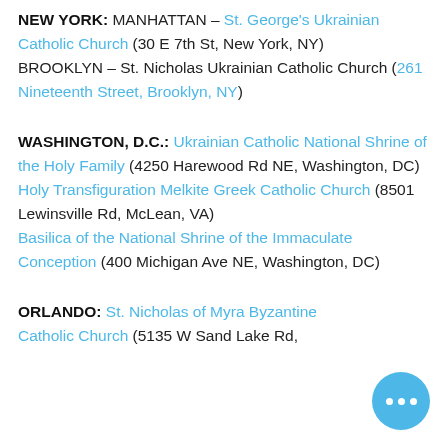NEW YORK: MANHATTAN – St. George's Ukrainian Catholic Church (30 E 7th St, New York, NY) BROOKLYN – St. Nicholas Ukrainian Catholic Church (261 Nineteenth Street, Brooklyn, NY)
WASHINGTON, D.C.: Ukrainian Catholic National Shrine of the Holy Family (4250 Harewood Rd NE, Washington, DC) Holy Transfiguration Melkite Greek Catholic Church (8501 Lewinsville Rd, McLean, VA) Basilica of the National Shrine of the Immaculate Conception (400 Michigan Ave NE, Washington, DC)
ORLANDO: St. Nicholas of Myra Byzantine Catholic Church (5135 W Sand Lake Rd,